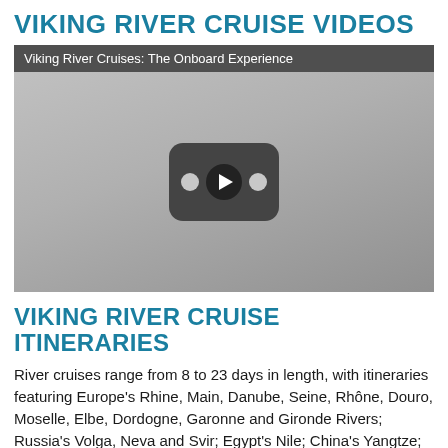VIKING RIVER CRUISE VIDEOS
[Figure (screenshot): Video thumbnail for 'Viking River Cruises: The Onboard Experience' showing a YouTube-style play button overlay on a grayscale video preview image]
VIKING RIVER CRUISE ITINERARIES
River cruises range from 8 to 23 days in length, with itineraries featuring Europe's Rhine, Main, Danube, Seine, Rhône, Douro, Moselle, Elbe, Dordogne, Garonne and Gironde Rivers; Russia's Volga, Neva and Svir; Egypt's Nile; China's Yangtze; and Southeast Asia's